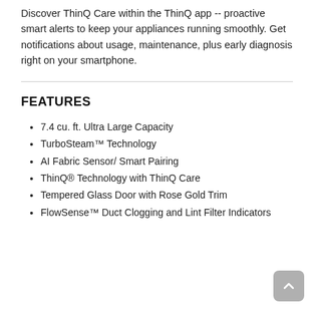Discover ThinQ Care within the ThinQ app -- proactive smart alerts to keep your appliances running smoothly. Get notifications about usage, maintenance, plus early diagnosis right on your smartphone.
FEATURES
7.4 cu. ft. Ultra Large Capacity
TurboSteam™ Technology
AI Fabric Sensor/ Smart Pairing
ThinQ® Technology with ThinQ Care
Tempered Glass Door with Rose Gold Trim
FlowSense™ Duct Clogging and Lint Filter Indicators